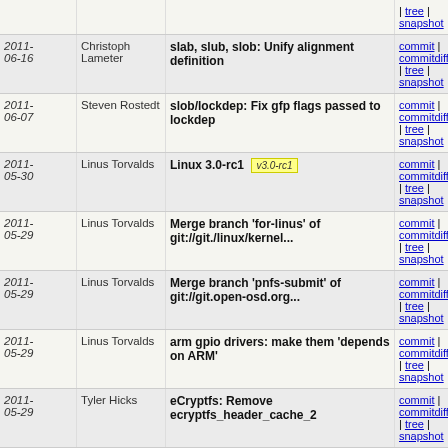| Date | Author | Commit message | Links |
| --- | --- | --- | --- |
| 2011-06-16 | Christoph Lameter | slab, slub, slob: Unify alignment definition | commit | commitdiff | tree | snapshot |
| 2011-06-07 | Steven Rostedt | slob/lockdep: Fix gfp flags passed to lockdep | commit | commitdiff | tree | snapshot |
| 2011-05-30 | Linus Torvalds | Linux 3.0-rc1 [v3.0-rc1] | commit | commitdiff | tree | snapshot |
| 2011-05-29 | Linus Torvalds | Merge branch 'for-linus' of git://git./linux/kernel... | commit | commitdiff | tree | snapshot |
| 2011-05-29 | Linus Torvalds | Merge branch 'pnfs-submit' of git://git.open-osd.org... | commit | commitdiff | tree | snapshot |
| 2011-05-29 | Linus Torvalds | arm gpio drivers: make them 'depends on ARM' | commit | commitdiff | tree | snapshot |
| 2011-05-29 | Tyler Hicks | eCryptfs: Remove ecryptfs_header_cache_2 | commit | commitdiff | tree | snapshot |
| 2011-05-29 | Tyler Hicks | eCryptfs: Cleanup and optimize ecryptfs_lookup_interpose() | commit | commitdiff | tree | snapshot |
| 2011-05-29 | Tyler Hicks | eCryptfs: Return useful code from contains_ecryptfs_marker | commit | commitdiff | tree | snapshot |
| 2011-05-29 | Tyler Hicks | eCryptfs: Fix new inode race condition | commit | commitdiff | tree | snapshot |